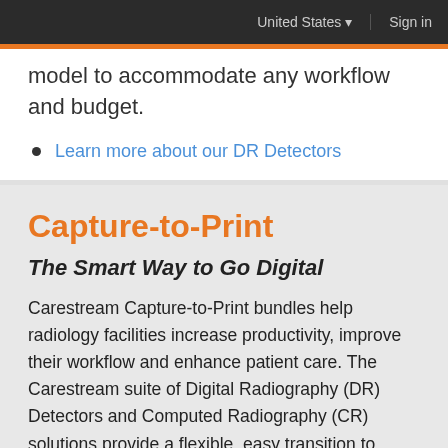United States   Sign in
model to accommodate any workflow and budget.
Learn more about our DR Detectors
Capture-to-Print
The Smart Way to Go Digital
Carestream Capture-to-Print bundles help radiology facilities increase productivity, improve their workflow and enhance patient care. The Carestream suite of Digital Radiography (DR) Detectors and Computed Radiography (CR) solutions provide a flexible, easy transition to digital when bundled with DRYVIEW Laser Imagers. Combined with the CARESTREAM Focus